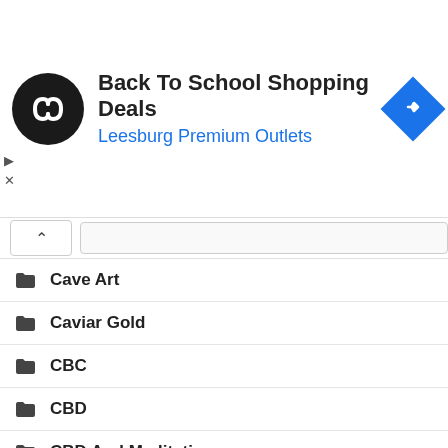[Figure (screenshot): Advertisement banner for Back To School Shopping Deals at Leesburg Premium Outlets, with a black circular logo, blue navigation diamond icon, and ad control icons (play and close).]
Cave Art
Caviar Gold
CBC
CBD
CBD And Meditation
CBD Anxiety
Cbd Butter
Cbd Capsules
CBD Cookies
Cbd Cosmetics